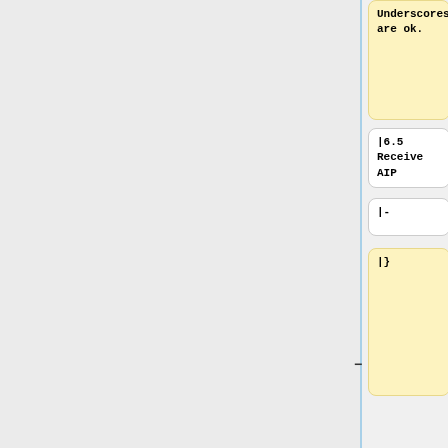Underscores are ok.
|6.5 Receive AIP
|6.5 Receive AIP
|-
|-
|}
|Archivist deletes SIP from shared ingest folder
|
*Delete the SIP from /home/demo/ingestSIP/.
|6.15 Destroy SIP